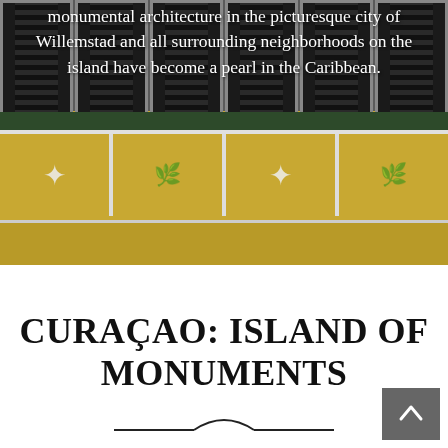[Figure (photo): Photograph of a colorful colonial building in Willemstad, Curaçao — yellow facade with white ornamental ironwork panels and dark green shuttered windows above. Text overlay in white reads: 'monumental architecture in the picturesque city of Willemstad and all surrounding neighborhoods on the island have become a pearl in the Caribbean.']
monumental architecture in the picturesque city of Willemstad and all surrounding neighborhoods on the island have become a pearl in the Caribbean.
CURAÇAO: ISLAND OF MONUMENTS